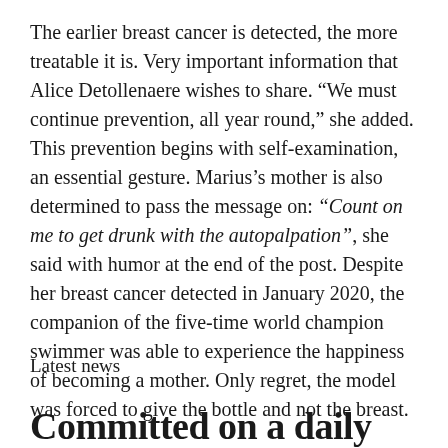The earlier breast cancer is detected, the more treatable it is. Very important information that Alice Detollenaere wishes to share. “We must continue prevention, all year round,” she added. This prevention begins with self-examination, an essential gesture. Marius’s mother is also determined to pass the message on: “Count on me to get drunk with the autopalpation”, she said with humor at the end of the post. Despite her breast cancer detected in January 2020, the companion of the five-time world champion swimmer was able to experience the happiness of becoming a mother. Only regret, the model was forced to give the bottle and not the breast.
Latest news
Committed on a daily basis to